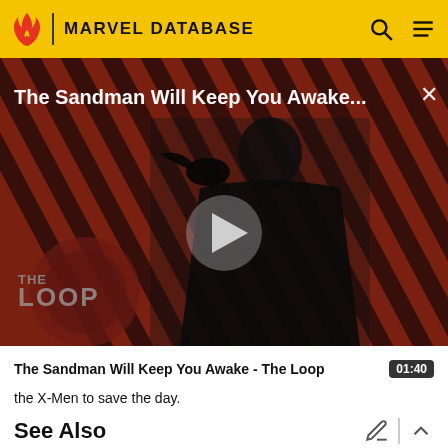MARVEL DATABASE
[Figure (screenshot): Video thumbnail showing a dark-cloaked figure against a red diagonal stripe background with a large play button in the center. Title overlay reads 'The Sandman Will Keep You Awake...' and THE LOOP logo appears in the bottom left.]
The Sandman Will Keep You Awake - The Loop  01:40
the X-Men to save the day.
See Also